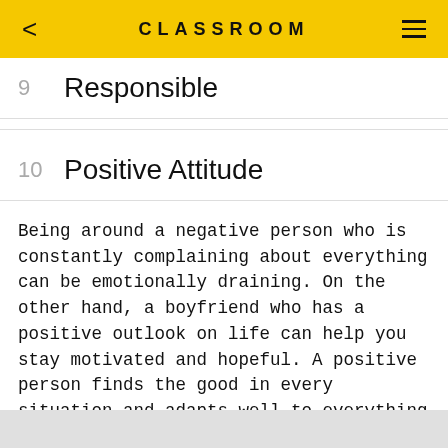CLASSROOM
9  Responsible
10  Positive Attitude
Being around a negative person who is constantly complaining about everything can be emotionally draining. On the other hand, a boyfriend who has a positive outlook on life can help you stay motivated and hopeful. A positive person finds the good in every situation and adapts well to everything life throws at him.